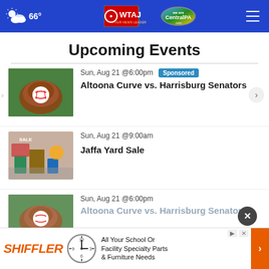66° WTAJ CentralPA.com
Upcoming Events
Sun, Aug 21 @6:00pm [Sponsored] — Altoona Curve vs. Harrisburg Senators
Sun, Aug 21 @9:00am — Jaffa Yard Sale
Sun, Aug 21 @6:00pm — Altoona Curve vs. Harrisburg Senators
[Figure (other): Shiffler advertisement banner with clock graphic and text: All Your School Or Facility Specialty Parts & Furniture Needs]